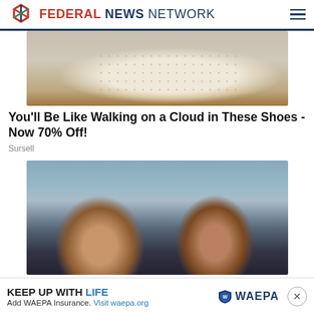FEDERAL NEWS NETWORK
[Figure (photo): Close-up photo of a white perforated leather slip-on shoe with tan/brown rubber sole on a dark background]
You'll Be Like Walking on a Cloud in These Shoes - Now 70% Off!
Sursell
[Figure (photo): Two smiling women in dark navy polo shirts standing in front of a vehicle outdoors]
KEEP UP WITH LIFE Add WAEPA Insurance. Visit waepa.org